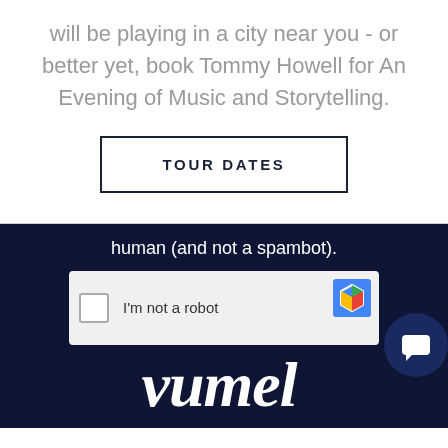will be playing in a city near you - or better yet, book Tommy Howell for An Evening of Music and Storytelling.
TOUR DATES
[Figure (screenshot): Dark navy background section showing a reCAPTCHA widget with 'human (and not a spambot).' text, an 'I'm not a robot' checkbox, a partial reCAPTCHA logo, a chat button, and the beginning of a 'vimlet' or 'vumel' logo in white italic script at the bottom.]